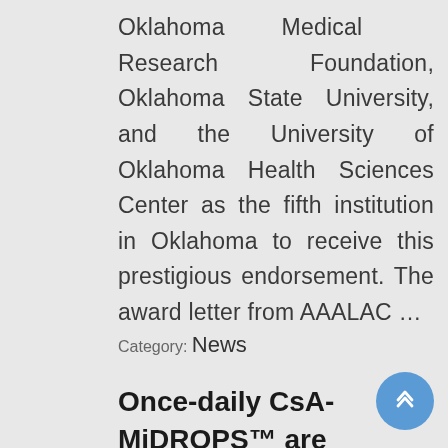Oklahoma Medical Research Foundation, Oklahoma State University, and the University of Oklahoma Health Sciences Center as the fifth institution in Oklahoma to receive this prestigious endorsement. The award letter from AAALAC …
Category: News
Once-daily CsA-MiDROPS™ are superior to other CsA drops dosed twice-daily